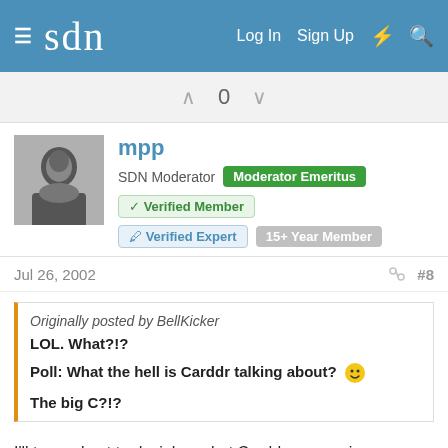sdn  Log In  Sign Up
0
[Figure (photo): Black and white photo of a person, avatar for user mpp]
mpp
SDN Moderator  Moderator Emeritus  Verified Member  Verified Expert  15+ Year Member
Jul 26, 2002  #8
Originally posted by BellKicker
LOL. What?!?

Poll: What the hell is Carddr talking about? 🙂

The big C?!?
I'll try my best to decipher what Carddr was saying. Perhaps Carddr will enlighten further. It is nice to have doctors that can communicate effectively and the CSE might possibly help this